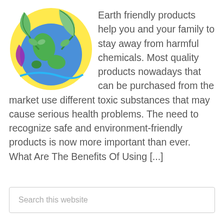[Figure (illustration): Colorful illustration of a globe with green leaves and plants wrapped around it, set against a yellow and blue background with decorative elements.]
Earth friendly products help you and your family to stay away from harmful chemicals. Most quality products nowadays that can be purchased from the market use different toxic substances that may cause serious health problems. The need to recognize safe and environment-friendly products is now more important than ever. What Are The Benefits Of Using [...]
Search this website